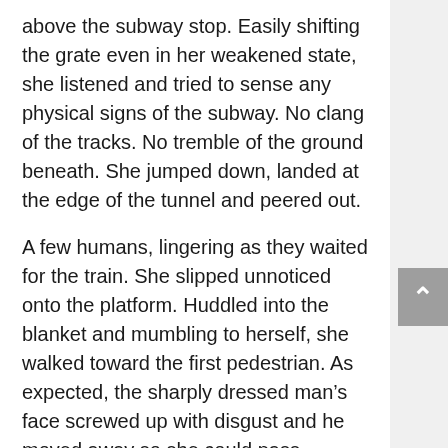above the subway stop. Easily shifting the grate even in her weakened state, she listened and tried to sense any physical signs of the subway. No clang of the tracks. No tremble of the ground beneath. She jumped down, landed at the edge of the tunnel and peered out.
A few humans, lingering as they waited for the train. She slipped unnoticed onto the platform. Huddled into the blanket and mumbling to herself, she walked toward the first pedestrian. As expected, the sharply dressed man's face screwed up with disgust and he moved away so she could pass.
Good. Her act was working, especially when she wobbled like a drunk from the blood loss. She pressed onward, needing